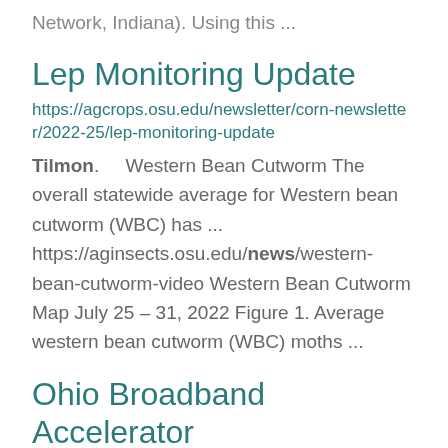Network, Indiana). Using this ...
Lep Monitoring Update
https://agcrops.osu.edu/newsletter/corn-newsletter/2022-25/lep-monitoring-update
Tilmon.    Western Bean Cutworm The overall statewide average for Western bean cutworm (WBC) has ... https://aginsects.osu.edu/news/western-bean-cutworm-video Western Bean Cutworm Map July 25 – 31, 2022 Figure 1. Average western bean cutworm (WBC) moths ...
Ohio Broadband Accelerator